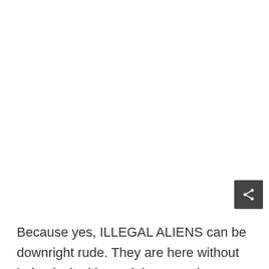[Figure (other): Share button icon (dark square with share/network icon in white)]
Because yes, ILLEGAL ALIENS can be downright rude. They are here without being invited in, and they remain even though to remain is breaking the law. Such people aren't always the most courteous bunch. In fact, many are the assholes alluded to in the paragraph above. Read: Man Who Brutally